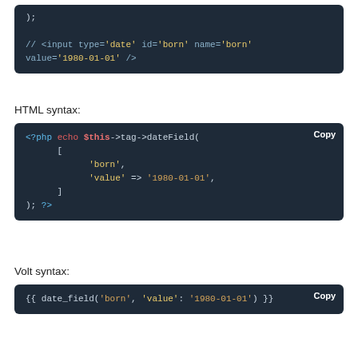[Figure (screenshot): Code block showing PHP comment with HTML input element: ); followed by // <input type='date' id='born' name='born' value='1980-01-01' />]
HTML syntax:
[Figure (screenshot): PHP code block: <?php echo $this->tag->dateField( [ 'born', 'value' => '1980-01-01', ] ); ?>]
Volt syntax:
[Figure (screenshot): Volt code block: {{ date_field('born', 'value': '1980-01-01') }}]